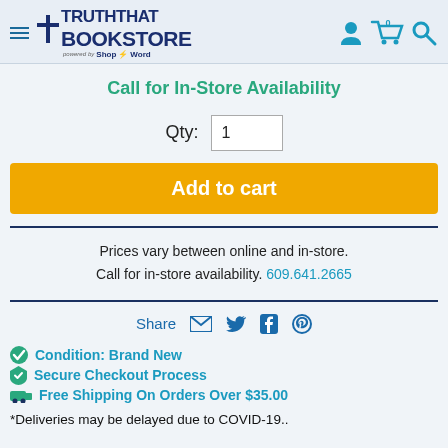[Figure (logo): Truth That Rocks Bookstore logo with a cross icon and 'powered by ShopTheWord' tagline, plus navigation hamburger menu and header icons (person, cart with 0, search)]
Call for In-Store Availability
Qty: 1
Add to cart
Prices vary between online and in-store. Call for in-store availability. 609.641.2665
Share
Condition: Brand New
Secure Checkout Process
Free Shipping On Orders Over $35.00
*Deliveries may be delayed due to COVID-19..